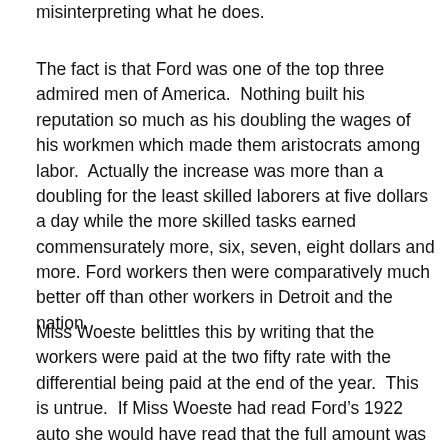misinterpreting what he does.
The fact is that Ford was one of the top three admired men of America.  Nothing built his reputation so much as his doubling the wages of his workmen which made them aristocrats among labor.  Actually the increase was more than a doubling for the least skilled laborers at five dollars a day while the more skilled tasks earned commensurately more, six, seven, eight dollars and more. Ford workers then were comparatively much better off than other workers in Detroit and the nation.
Miss Woeste belittles this by writing that the workers were paid at the two fifty rate with the differential being paid at the end of the year.  This is untrue.  If Miss Woeste had read Ford’s 1922 auto she would have read that the full amount was paid as part of the worker’s bi-weekly pay. She also references David Hodo said The Public large Of